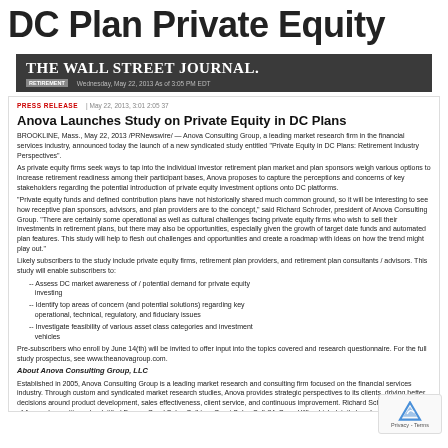DC Plan Private Equity
[Figure (logo): The Wall Street Journal masthead/logo in dark gray bar with date]
PRESS RELEASE | May 22, 2013, 3:01 2:05 37
Anova Launches Study on Private Equity in DC Plans
BROOKLINE, Mass., May 22, 2013 /PRNewswire/ -- Anova Consulting Group, a leading market research firm in the financial services industry, announced today the launch of a new syndicated study entitled "Private Equity in DC Plans: Retirement Industry Perspectives".
As private equity firms seek ways to tap into the individual investor retirement plan market and plan sponsors weigh various options to increase retirement readiness among their participant bases, Anova proposes to capture the perceptions and concerns of key stakeholders regarding the potential introduction of private equity investment options onto DC platforms.
"Private equity funds and defined contribution plans have not historically shared much common ground, so it will be interesting to see how receptive plan sponsors, advisors, and plan providers are to the concept," said Richard Schroder, president of Anova Consulting Group. "There are certainly some operational as well as cultural challenges facing private equity firms who wish to sell their investments in retirement plans, but there may also be opportunities, especially given the growth of target date funds and automated plan features. This study will help to flesh out challenges and opportunities and create a roadmap with ideas on how the trend might play out."
Likely subscribers to the study include private equity firms, retirement plan providers, and retirement plan consultants / advisors. This study will enable subscribers to:
-- Assess DC market awareness of / potential demand for private equity investing
-- Identify top areas of concern (and potential solutions) regarding key operational, technical, regulatory, and fiduciary issues
-- Investigate feasibility of various asset class categories and investment vehicles
Pre-subscribers who enroll by June 14(th) will be invited to offer input into the topics covered and research questionnaire. For the full study prospectus, see www.theanovagroup.com.
About Anova Consulting Group, LLC
Established in 2005, Anova Consulting Group is a leading market research and consulting firm focused on the financial services industry. Through custom and syndicated market research studies, Anova provides strategic perspectives to its clients, driving better decisions around product development, sales effectiveness, client service, and continuous improvement. Richard Schroder, president of Anova, has written a book titled From a Good Sales Call to a Great Sales Call (McGraw-Hill), which details how learning from post-sale debriefing helps close more